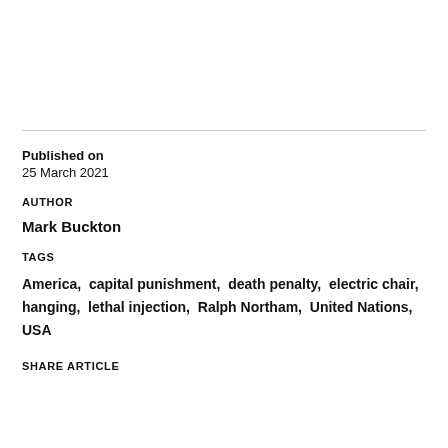Published on
25 March 2021
AUTHOR
Mark Buckton
TAGS
America,  capital punishment,  death penalty,  electric chair,  hanging,  lethal injection,  Ralph Northam,  United Nations,  USA
SHARE ARTICLE